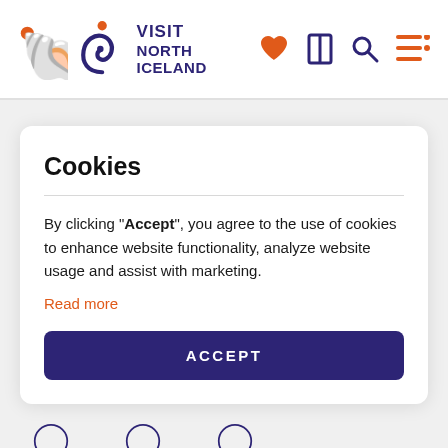VISIT NORTH ICELAND
Cookies
By clicking "Accept", you agree to the use of cookies to enhance website functionality, analyze website usage and assist with marketing.
Read more
ACCEPT